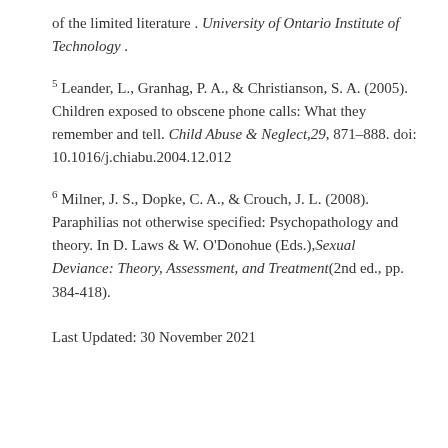Linberg, A. A. (2011). Telephone scatologia: A review of the limited literature. University of Ontario Institute of Technology.
5 Leander, L., Granhag, P. A., & Christianson, S. A. (2005). Children exposed to obscene phone calls: What they remember and tell. Child Abuse & Neglect, 29, 871–888. doi: 10.1016/j.chiabu.2004.12.012
6 Milner, J. S., Dopke, C. A., & Crouch, J. L. (2008). Paraphilias not otherwise specified: Psychopathology and theory. In D. Laws & W. O'Donohue (Eds.), Sexual Deviance: Theory, Assessment, and Treatment (2nd ed., pp. 384-418).
Last Updated: 30 November 2021